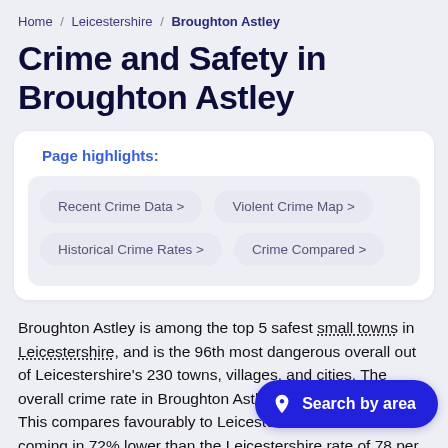Home / Leicestershire / Broughton Astley
Crime and Safety in Broughton Astley
Page highlights:
Recent Crime Data >
Violent Crime Map >
Historical Crime Rates >
Crime Compared >
Broughton Astley is among the top 5 safest small towns in Leicestershire, and is the 96th most dangerous overall out of Leicestershire's 230 towns, villages, and cities. The overall crime rate in Broughton Astley in 2021 was 45 This compares favourably to Leicestershire coming in 72% lower than the Leicestershire rate of 78 per 1,000